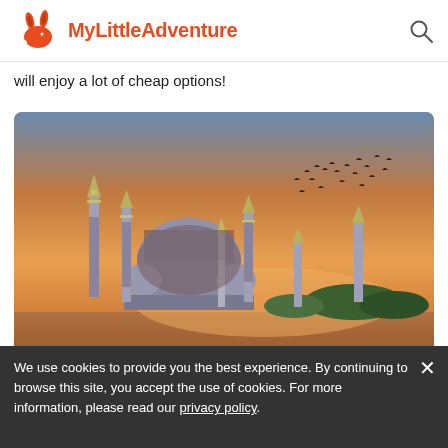MyLittleAdventure
will enjoy a lot of cheap options!
[Figure (photo): Photograph of the Blue Mosque (Sultan Ahmed Mosque) in Istanbul at sunset, with its six minarets reflecting in water and birds flying in the golden sky.]
Istanbul
We use cookies to provide you the best experience. By continuing to browse this site, you accept the use of cookies. For more information, please read our privacy policy.